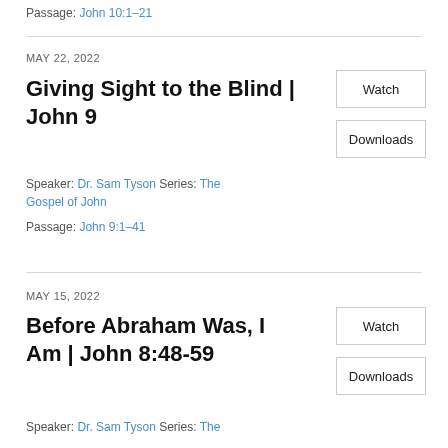Passage: John 10:1–21
MAY 22, 2022
Giving Sight to the Blind | John 9
Speaker: Dr. Sam Tyson Series: The Gospel of John
Passage: John 9:1–41
MAY 15, 2022
Before Abraham Was, I Am | John 8:48-59
Speaker: Dr. Sam Tyson Series: The